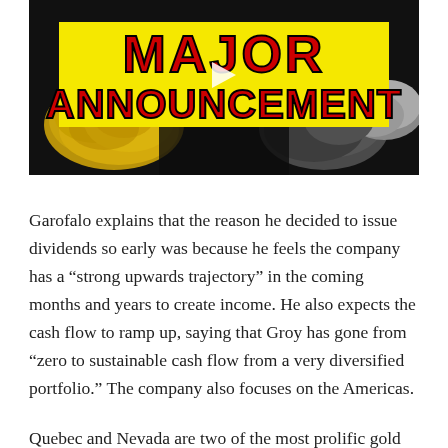[Figure (screenshot): Video thumbnail with dark background showing gold nuggets and grey rocks. A yellow banner in the center reads 'MAJOR ANNOUNCEMENT' in large bold red text with a play button icon.]
Garofalo explains that the reason he decided to issue dividends so early was because he feels the company has a “strong upwards trajectory” in the coming months and years to create income. He also expects the cash flow to ramp up, saying that Groy has gone from “zero to sustainable cash flow from a very diversified portfolio.” The company also focuses on the Americas.
Quebec and Nevada are two of the most prolific gold districts in the world, says Garofalo. He